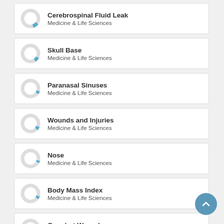Cerebrospinal Fluid Leak — Medicine & Life Sciences
Skull Base — Medicine & Life Sciences
Paranasal Sinuses — Medicine & Life Sciences
Wounds and Injuries — Medicine & Life Sciences
Nose — Medicine & Life Sciences
Body Mass Index — Medicine & Life Sciences
Gunshot Wounds — Medicine & Life Sciences